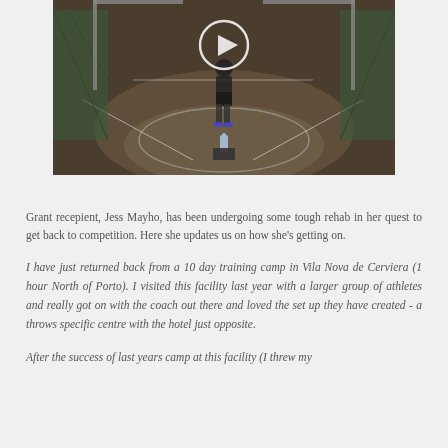[Figure (photo): Video thumbnail of an athlete on a throwing circle at a track and field facility. A person in dark clothing stands on the circle with a water bottle and equipment visible in front. A play button circle overlay is visible in the upper center. Netting is visible on the sides.]
Grant recepient, Jess Mayho, has been undergoing some tough rehab in her quest to get back to competition. Here she updates us on how she's getting on.
I have just returned back from a 10 day training camp in Vila Nova de Cerviera (1 hour North of Porto). I visited this facility last year with a larger group of athletes and really got on with the coach out there and loved the set up they have created - a throws specific centre with the hotel just opposite.
After the success of last years camp at this facility (I threw my